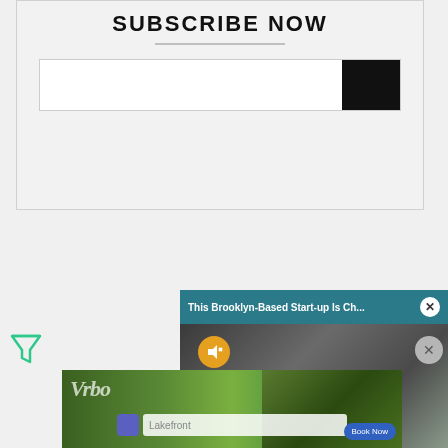SUBSCRIBE NOW
[Figure (screenshot): Email subscription form with text input field and black submit button]
[Figure (screenshot): Filter icon (green funnel/triangle icon)]
[Figure (screenshot): Advertisement overlay: 'This Brooklyn-Based Start-up Is Ch...' with close button, video thumbnail with mute button]
[Figure (screenshot): Vrbo advertisement banner with cabin photo, Lakefront search field, and Book Now button]